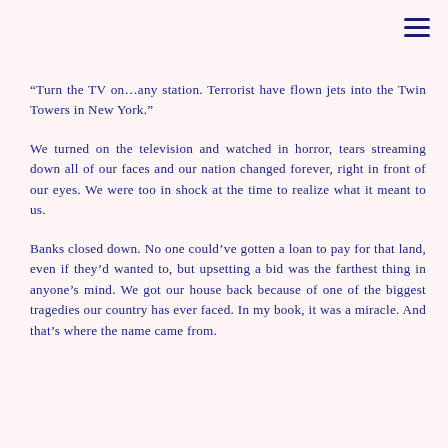“Turn the TV on…any station. Terrorist have flown jets into the Twin Towers in New York.”
We turned on the television and watched in horror, tears streaming down all of our faces and our nation changed forever, right in front of our eyes. We were too in shock at the time to realize what it meant to us.
Banks closed down. No one could’ve gotten a loan to pay for that land, even if they’d wanted to, but upsetting a bid was the farthest thing in anyone’s mind. We got our house back because of one of the biggest tragedies our country has ever faced. In my book, it was a miracle. And that’s where the name came from.